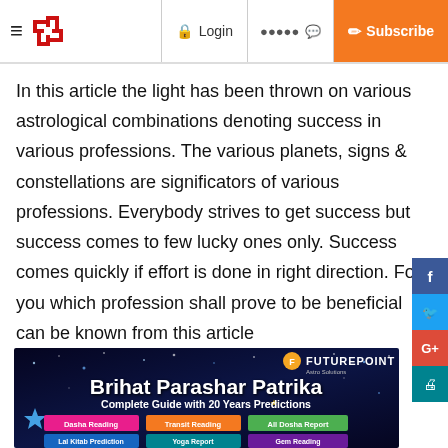≡  [Swastik Logo]  Login  ●●●●● ●  Subscribe
In this article the light has been thrown on various astrological combinations denoting success in various professions. The various planets, signs & constellations are significators of various professions. Everybody strives to get success but success comes to few lucky ones only. Success comes quickly if effort is done in right direction. For you which profession shall prove to be beneficial can be known from this article
[Figure (infographic): FuturePoint Astro Solutions advertisement banner for Brihat Parashar Patrika - Complete Guide with 20 Years Predictions, showing buttons for Dasha Reading, Transit Reading, All Dosha Report, Lal Kitab Prediction, Yoga Report, Gem Reading]